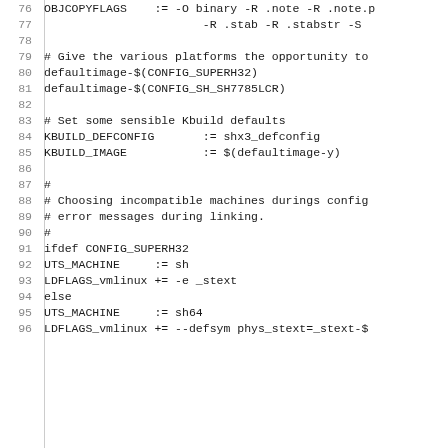Code listing lines 76-96 of a Makefile for SH architecture Linux kernel build system
76  OBJCOPYFLAGS    := -O binary -R .note -R .note.p
77                       -R .stab -R .stabstr -S
78  (blank)
79  # Give the various platforms the opportunity to
80  defaultimage-$(CONFIG_SUPERH32)
81  defaultimage-$(CONFIG_SH_SH7785LCR)
82  (blank)
83  # Set some sensible Kbuild defaults
84  KBUILD_DEFCONFIG       := shx3_defconfig
85  KBUILD_IMAGE           := $(defaultimage-y)
86  (blank)
87  #
88  # Choosing incompatible machines durings config
89  # error messages during linking.
90  #
91  ifdef CONFIG_SUPERH32
92  UTS_MACHINE     := sh
93  LDFLAGS_vmlinux += -e _stext
94  else
95  UTS_MACHINE     := sh64
96  LDFLAGS_vmlinux += --defsym phys_stext=_stext-$